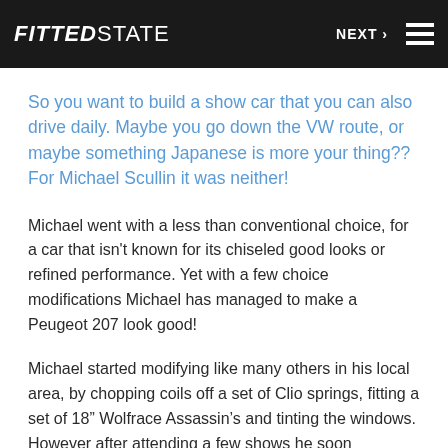FITTED STATE   NEXT ≡
So you want to build a show car that you can also drive daily. Maybe you go down the VW route, or maybe something Japanese is more your thing?? For Michael Scullin it was neither!
Michael went with a less than conventional choice, for a car that isn't known for its chiseled good looks or refined performance. Yet with a few choice modifications Michael has managed to make a Peugeot 207 look good!
Michael started modifying like many others in his local area, by chopping coils off a set of Clio springs, fitting a set of 18" Wolfrace Assassin's and tinting the windows. However after attending a few shows he soon discovered